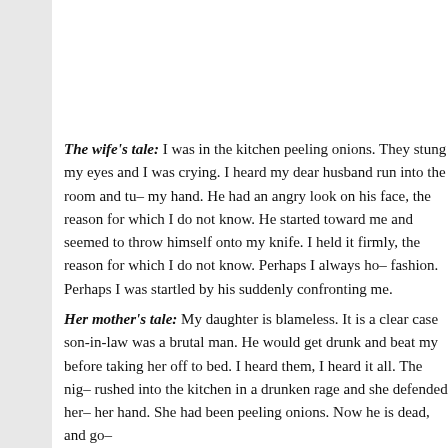The wife's tale:  I was in the kitchen peeling onions. They stung my eyes and I was crying. I heard my dear husband run into the room and turn toward my hand. He had an angry look on his face, the reason for which I do not know. He started toward me and seemed to throw himself onto my knife. I held it firmly, the reason for which I do not know. Perhaps I always hold a knife in this fashion. Perhaps I was startled by his suddenly confronting me.
Her mother's tale:  My daughter is blameless. It is a clear case of self-defense. My son-in-law was a brutal man. He would get drunk and beat my daughter before taking her off to bed. I heard them, I heard it all. The night he died, he rushed into the kitchen in a drunken rage and she defended herself with what was in her hand. She had been peeling onions. Now he is dead, and go